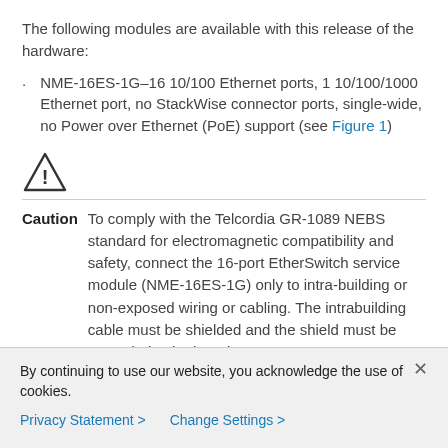The following modules are available with this release of the hardware:
NME-16ES-1G–16 10/100 Ethernet ports, 1 10/100/1000 Ethernet port, no StackWise connector ports, single-wide, no Power over Ethernet (PoE) support (see Figure 1)
[Figure (other): Warning/Caution triangle icon with exclamation mark]
Caution   To comply with the Telcordia GR-1089 NEBS standard for electromagnetic compatibility and safety, connect the 16-port EtherSwitch service module (NME-16ES-1G) only to intra-building or non-exposed wiring or cabling. The intrabuilding cable must be shielded and the shield must be grounded at both ends.
By continuing to use our website, you acknowledge the use of cookies.
Privacy Statement >   Change Settings >